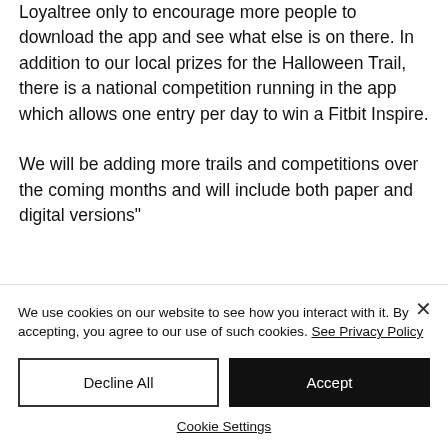Loyaltree only to encourage more people to download the app and see what else is on there. In addition to our local prizes for the Halloween Trail, there is a national competition running in the app which allows one entry per day to win a Fitbit Inspire.

We will be adding more trails and competitions over the coming months and will include both paper and digital versions"
We use cookies on our website to see how you interact with it. By accepting, you agree to our use of such cookies. See Privacy Policy
Decline All
Accept
Cookie Settings